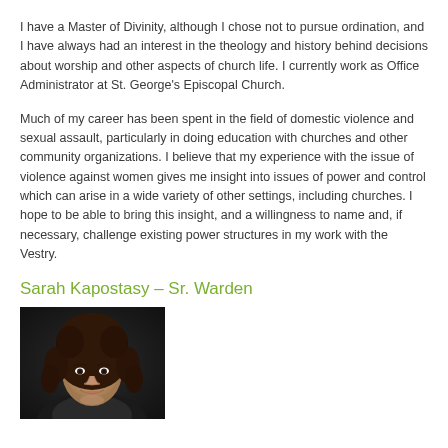I have a Master of Divinity, although I chose not to pursue ordination, and I have always had an interest in the theology and history behind decisions about worship and other aspects of church life. I currently work as Office Administrator at St. George's Episcopal Church.
Much of my career has been spent in the field of domestic violence and sexual assault, particularly in doing education with churches and other community organizations. I believe that my experience with the issue of violence against women gives me insight into issues of power and control which can arise in a wide variety of other settings, including churches. I hope to be able to bring this insight, and a willingness to name and, if necessary, challenge existing power structures in my work with the Vestry.
Sarah Kapostasy – Sr. Warden
[Figure (photo): Portrait photo of Sarah Kapostasy, a woman with curly dark brown hair, smiling, against a dark background]